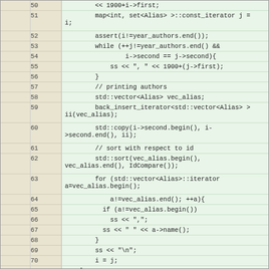[Figure (screenshot): Code listing showing C++ source code lines 50-76, with line numbers in a beige left gutter and code on a light green background. Code includes iterators, assert statements, while loops, vector operations, sort calls, and a function definition for CopyrightVisitor::create_year2alias.]